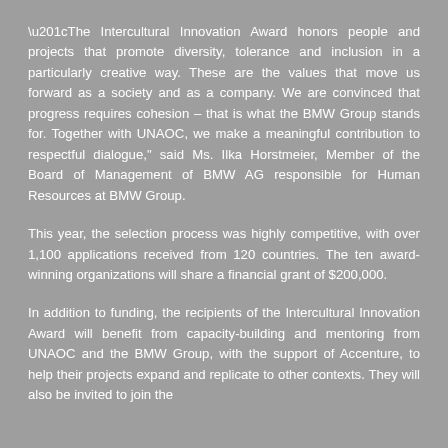“The Intercultural Innovation Award honors people and projects that promote diversity, tolerance and inclusion in a particularly creative way. These are the values that move us forward as a society and as a company. We are convinced that progress requires cohesion – that is what the BMW Group stands for. Together with UNAOC, we make a meaningful contribution to respectful dialogue,” said Ms. Ilka Horstmeier, Member of the Board of Management of BMW AG responsible for Human Resources at BMW Group.
This year, the selection process was highly competitive, with over 1,100 applications received from 120 countries. The ten award-winning organizations will share a financial grant of $200,000.
In addition to funding, the recipients of the Intercultural Innovation Award will benefit from capacity-building and mentoring from UNAOC and the BMW Group, with the support of Accenture, to help their projects expand and replicate to other contexts. They will also be invited to join the